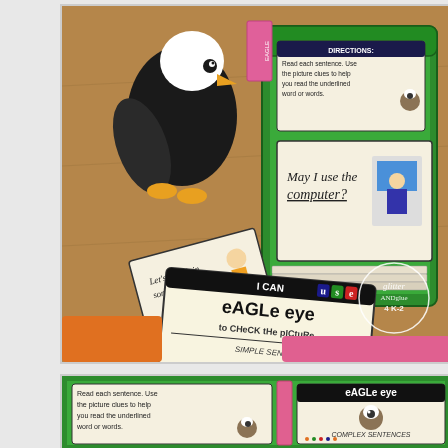[Figure (photo): Classroom literacy station photo showing a wooden desk with a stuffed bald eagle toy, a green plastic lunchbox container holding reading cards with directions ('Read each sentence. Use the picture clues to help you read the underlined word or words') and a card reading 'May I use the computer?', plus two activity cards: one reading 'Let's splash in some puddles!' and a larger card reading 'I CAN use EAGLE EYE to check the picture. SIMPLE SENTENCES'. A glitter and glue 4 K-2 watermark logo appears in the bottom right. Below the main box area are orange and pink storage bins.]
[Figure (photo): Close-up photo of two cards in a green plastic container. Left card shows partial directions text 'the picture clues to help you read the underlined word or words.' with an eagle illustration. Right card shows 'EAGLE EYE' heading with an eagle illustration and text 'COMPLEX SENTENCES'.]